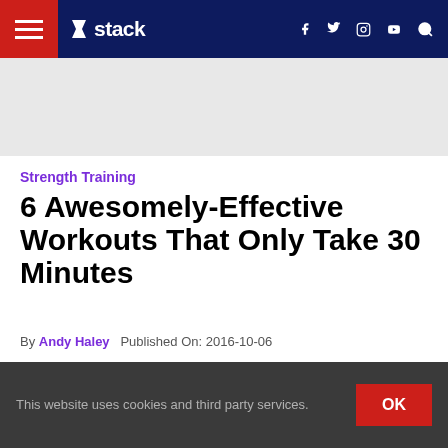stack — navigation bar with hamburger menu, logo, social icons (f, twitter, instagram, youtube), and search
[Figure (other): Gray advertisement banner area]
Strength Training
6 Awesomely-Effective Workouts That Only Take 30 Minutes
By Andy Haley   Published On: 2016-10-06
[Figure (other): Black video/image placeholder]
This website uses cookies and third party services.